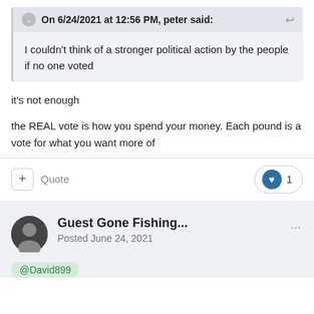On 6/24/2021 at 12:56 PM, peter said:
I couldn't think of a stronger political action by the people if no one voted
it's not enough
the REAL vote is how you spend your money. Each pound is a vote for what you want more of
Quote   ♥ 1
Guest Gone Fishing...
Posted June 24, 2021
@David899